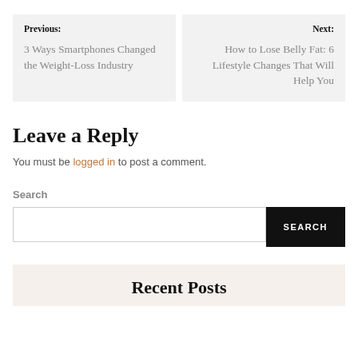Previous: 3 Ways Smartphones Changed the Weight-Loss Industry
Next: How to Lose Belly Fat: 6 Lifestyle Changes That Will Help You
Leave a Reply
You must be logged in to post a comment.
Search
Recent Posts